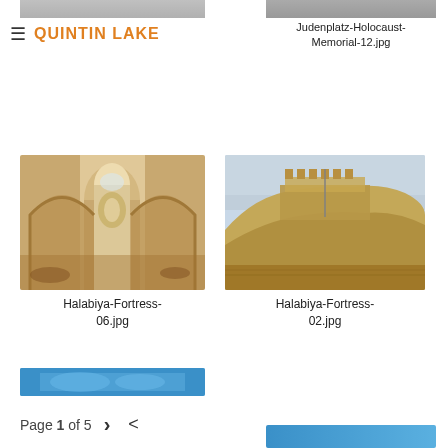QUINTIN LAKE
os.jpg
Judenplatz-Holocaust-Memorial-12.jpg
[Figure (photo): Interior of Halabiya Fortress showing arched passageways and sandy stone walls]
Halabiya-Fortress-06.jpg
[Figure (photo): Halabiya Fortress on a sandy hill against a pale blue sky]
Halabiya-Fortress-02.jpg
Page 1 of 5